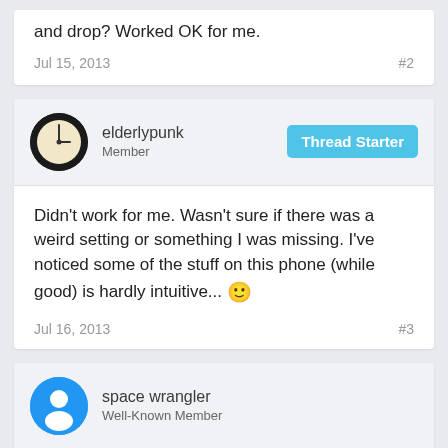and drop? Worked OK for me.
Jul 15, 2013   #2
elderlypunk
Member
Thread Starter
Didn't work for me. Wasn't sure if there was a weird setting or something I was missing. I've noticed some of the stuff on this phone (while good) is hardly intuitive... 🙂
Jul 16, 2013   #3
space wrangler
Well-Known Member
elderlypunk said: ↑
"Didn't work for me."